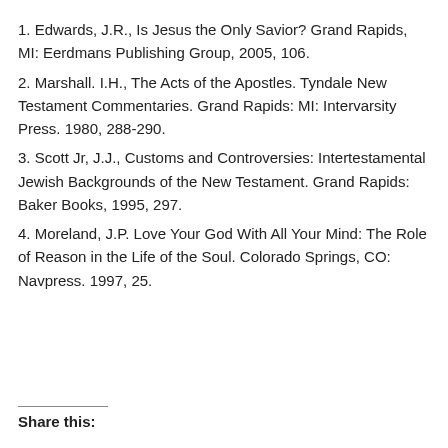1. Edwards, J.R., Is Jesus the Only Savior? Grand Rapids, MI: Eerdmans Publishing Group, 2005, 106.
2. Marshall. I.H., The Acts of the Apostles. Tyndale New Testament Commentaries. Grand Rapids: MI: Intervarsity Press. 1980, 288-290.
3. Scott Jr, J.J., Customs and Controversies: Intertestamental Jewish Backgrounds of the New Testament. Grand Rapids: Baker Books, 1995, 297.
4. Moreland, J.P. Love Your God With All Your Mind: The Role of Reason in the Life of the Soul. Colorado Springs, CO: Navpress. 1997, 25.
Share this: